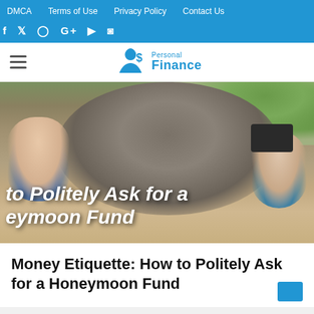DMCA   Terms of Use   Privacy Policy   Contact Us
f  t  Instagram  G+  YouTube  Snapchat
Personal Finance (logo)
[Figure (photo): Two people smiling and posing with an elephant outdoors, with trees in the background. White bold italic text overlaid reads: to Politely Ask for a eymoon Fund]
Money Etiquette: How to Politely Ask for a Honeymoon Fund